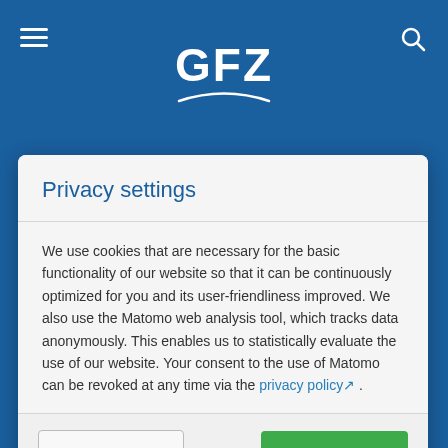GFZ
Privacy settings
We use cookies that are necessary for the basic functionality of our website so that it can be continuously optimized for you and its user-friendliness improved. We also use the Matomo web analysis tool, which tracks data anonymously. This enables us to statistically evaluate the use of our website. Your consent to the use of Matomo can be revoked at any time via the privacy policy .